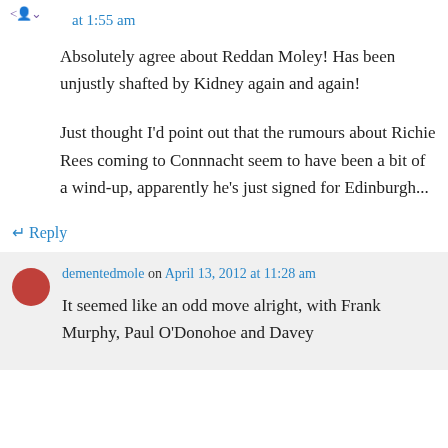at 1:55 am
Absolutely agree about Reddan Moley! Has been unjustly shafted by Kidney again and again!
Just thought I'd point out that the rumours about Richie Rees coming to Connnacht seem to have been a bit of a wind-up, apparently he's just signed for Edinburgh...
↵ Reply
dementedmole on April 13, 2012 at 11:28 am
It seemed like an odd move alright, with Frank Murphy, Paul O'Donohoe and Davey